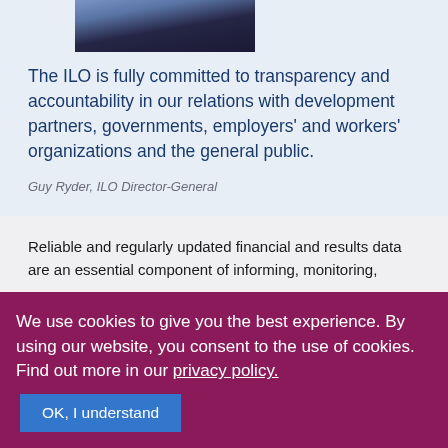[Figure (photo): Partial photo of a man in a suit with a tie, ILO flag visible in background, cropped at top of page]
The ILO is fully committed to transparency and accountability in our relations with development partners, governments, employers' and workers' organizations and the general public.
Guy Ryder, ILO Director-General
Reliable and regularly updated financial and results data are an essential component of informing, monitoring,
We use cookies to give you the best experience. By using our website, you consent to the use of cookies. Find out more in our privacy policy.
OK, I understand